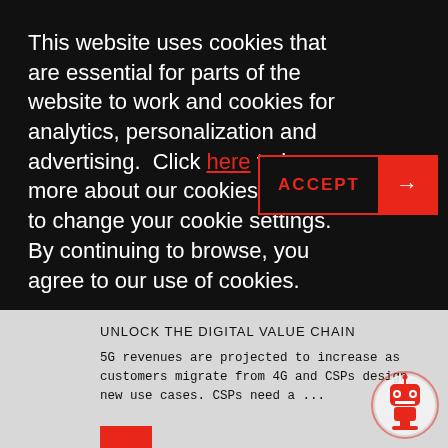This website uses cookies that are essential for parts of the website to work and cookies for analytics, personalization and advertising.  Click here to learn more about our cookies and how to change your cookie settings. By continuing to browse, you agree to our use of cookies.
[Figure (other): ACCEPT button with red border: black section with red 'ACCEPT' text and red section with white right-arrow]
UNLOCK THE DIGITAL VALUE CHAIN
5G revenues are projected to increase as customers migrate from 4G and CSPs design new use cases. CSPs need a ...
[Figure (illustration): Red robot/chatbot circular icon in bottom right corner]